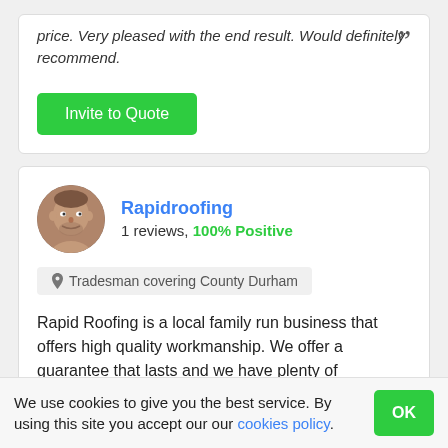price. Very pleased with the end result. Would definitely recommend.
Invite to Quote
Rapidroofing
1 reviews, 100% Positive
Tradesman covering County Durham
Rapid Roofing is a local family run business that offers high quality workmanship. We offer a guarantee that lasts and we have plenty of references which we can provide upon request.
We use cookies to give you the best service. By using this site you accept our our cookies policy.